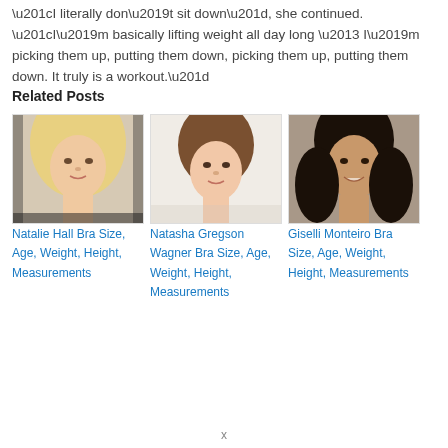“I literally don’t sit down”, she continued. “I’m basically lifting weight all day long – I’m picking them up, putting them down, picking them up, putting them down. It truly is a workout.”
Related Posts
[Figure (photo): Headshot of Natalie Hall, blonde woman]
Natalie Hall Bra Size, Age, Weight, Height, Measurements
[Figure (photo): Headshot of Natasha Gregson Wagner, brown-haired woman]
Natasha Gregson Wagner Bra Size, Age, Weight, Height, Measurements
[Figure (photo): Headshot of Giselli Monteiro, dark-haired woman smiling]
Giselli Monteiro Bra Size, Age, Weight, Height, Measurements
x